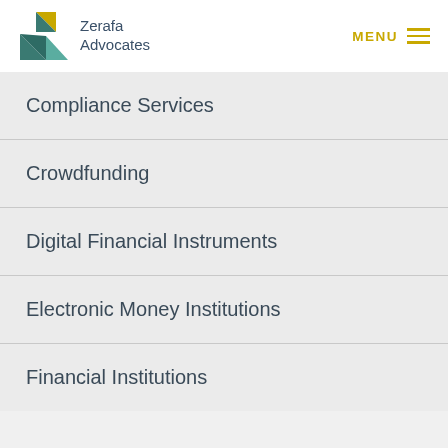[Figure (logo): Zerafa Advocates logo with geometric Z shape in teal and yellow]
Zerafa Advocates | MENU
Compliance Services
Crowdfunding
Digital Financial Instruments
Electronic Money Institutions
Financial Institutions